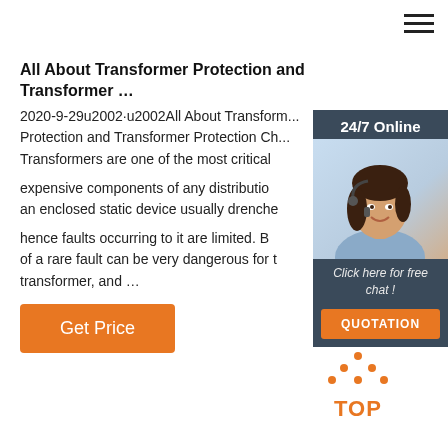≡ (hamburger menu)
All About Transformer Protection and Transformer …
2020-9-29u2002·u2002All About Transformer Protection and Transformer Protection Ch... Transformers are one of the most critical expensive components of any distribution an enclosed static device usually drenche hence faults occurring to it are limited. Bu of a rare fault can be very dangerous for t transformer, and …
[Figure (infographic): 24/7 Online side panel with customer service representative photo, 'Click here for free chat!' text, and QUOTATION button in orange]
[Figure (illustration): Back to top button with orange dots arranged in triangle shape and 'TOP' text in orange]